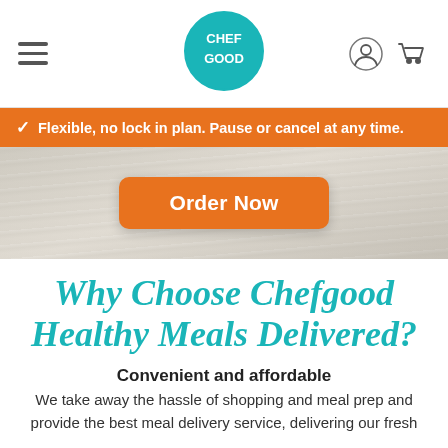CHEF GOOD (logo) | navigation menu | user icon | cart icon
✓ Flexible, no lock in plan. Pause or cancel at any time.
[Figure (screenshot): Hero section with light wood texture background and orange 'Order Now' call-to-action button]
Why Choose Chefgood Healthy Meals Delivered?
Convenient and affordable
We take away the hassle of shopping and meal prep and provide the best meal delivery service, delivering our fresh